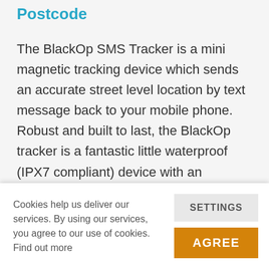Postcode
The BlackOp SMS Tracker is a mini magnetic tracking device which sends an accurate street level location by text message back to your mobile phone. Robust and built to last, the BlackOp tracker is a fantastic little waterproof (IPX7 compliant) device with an impressive 60 days standby time and up to 14 days of
Cookies help us deliver our services. By using our services, you agree to our use of cookies. Find out more
SETTINGS
AGREE